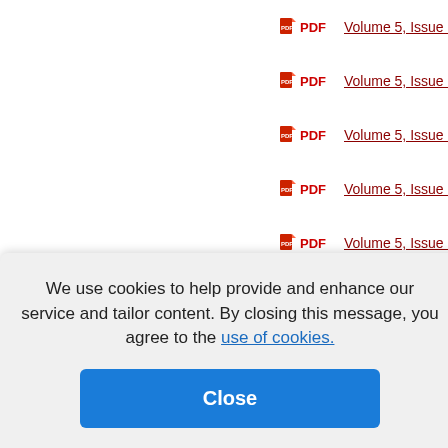PDF  Volume 5, Issue 5 -
PDF  Volume 5, Issue 6 -
PDF  Volume 5, Issue 7 -
PDF  Volume 5, Issue 8 -
PDF  Volume 5, Issue 9 -
PDF  Volume 6, Issue 10
PDF  Volume 6, Issue 11
6, Issue 12
6, Issue 13
6, Issue 14
6, Issue 15
We use cookies to help provide and enhance our service and tailor content. By closing this message, you agree to the use of cookies.
Close